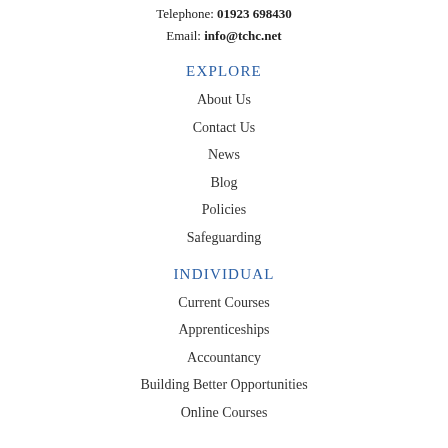Telephone: 01923 698430
Email: info@tchc.net
EXPLORE
About Us
Contact Us
News
Blog
Policies
Safeguarding
INDIVIDUAL
Current Courses
Apprenticeships
Accountancy
Building Better Opportunities
Online Courses